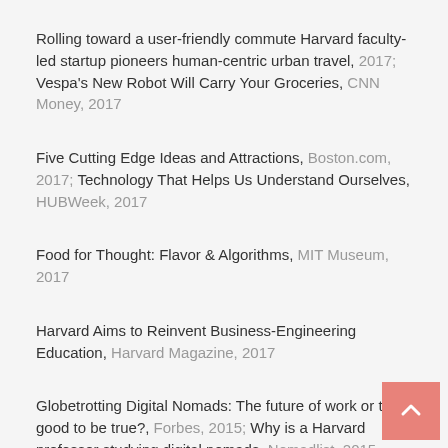Rolling toward a user-friendly commute Harvard faculty-led startup pioneers human-centric urban travel, 2017; Vespa's New Robot Will Carry Your Groceries, CNN Money, 2017
Five Cutting Edge Ideas and Attractions, Boston.com, 2017; Technology That Helps Us Understand Ourselves, HUBWeek, 2017
Food for Thought: Flavor & Algorithms, MIT Museum, 2017
Harvard Aims to Reinvent Business-Engineering Education, Harvard Magazine, 2017
Globetrotting Digital Nomads: The future of work or too good to be true?, Forbes, 2015; Why is a Harvard professor studying digital nomads, Nomadlist, 2015